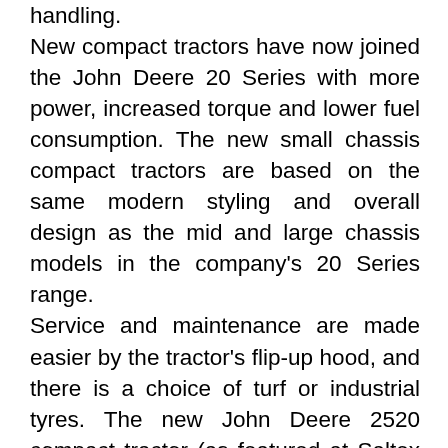handling. New compact tractors have now joined the John Deere 20 Series with more power, increased torque and lower fuel consumption. The new small chassis compact tractors are based on the same modern styling and overall design as the mid and large chassis models in the company's 20 Series range. Service and maintenance are made easier by the tractor's flip-up hood, and there is a choice of turf or industrial tyres. The new John Deere 2520 compact tractor (as featured at Saltex 2005) is available from September 2005, while the smaller 2320 will be available in spring 2006.